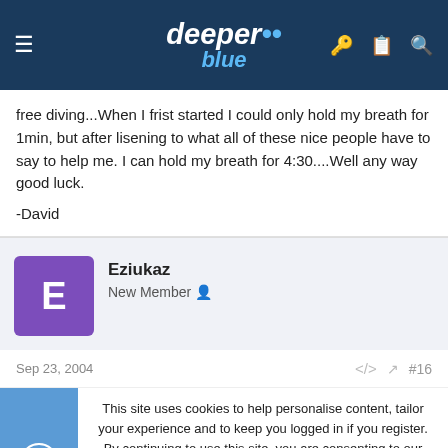deeper blue — site navigation header
free diving...When I frist started I could only hold my breath for 1min, but after lisening to what all of these nice people have to say to help me. I can hold my breath for 4:30....Well any way good luck.
-David
Eziukaz
New Member
Sep 23, 2004   #16
This site uses cookies to help personalise content, tailor your experience and to keep you logged in if you register.
By continuing to use this site, you are consenting to our use of cookies.